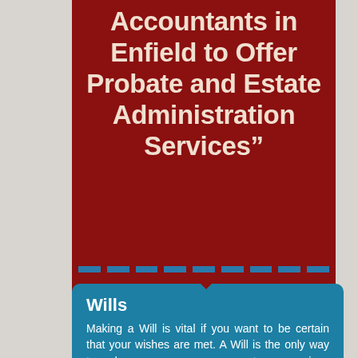Accountants in Enfield to Offer Probate and Estate Administration Services”
Wills
Making a Will is vital if you want to be certain that your wishes are met. A Will is the only way to make sure your money, property, possessions and investments (known as your estate) go to the people and